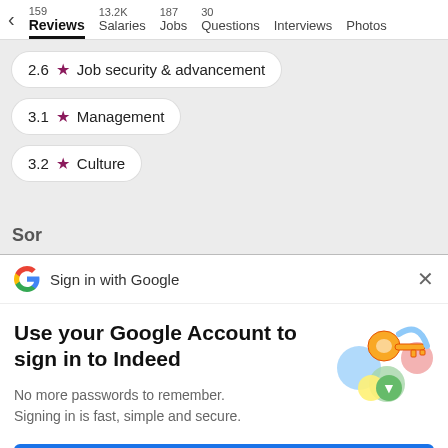Reviews (159) | Salaries (13.2K) | Jobs (187) | Questions (30) | Interviews | Photos
2.6 ★ Job security & advancement
3.1 ★ Management
3.2 ★ Culture
Sign in with Google
Use your Google Account to sign in to Indeed
No more passwords to remember. Signing in is fast, simple and secure.
Continue